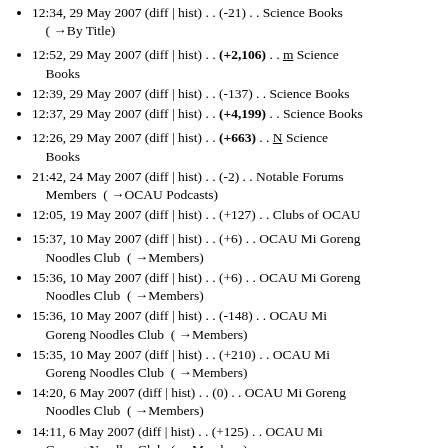12:34, 29 May 2007 (diff | hist) . . (-21) . . Science Books (→By Title)
12:52, 29 May 2007 (diff | hist) . . (+2,106) . . m Science Books
12:39, 29 May 2007 (diff | hist) . . (-137) . . Science Books
12:37, 29 May 2007 (diff | hist) . . (+4,199) . . Science Books
12:26, 29 May 2007 (diff | hist) . . (+663) . . N Science Books
21:42, 24 May 2007 (diff | hist) . . (-2) . . Notable Forums Members (→OCAU Podcasts)
12:05, 19 May 2007 (diff | hist) . . (+127) . . Clubs of OCAU
15:37, 10 May 2007 (diff | hist) . . (+6) . . OCAU Mi Goreng Noodles Club (→Members)
15:36, 10 May 2007 (diff | hist) . . (+6) . . OCAU Mi Goreng Noodles Club (→Members)
15:36, 10 May 2007 (diff | hist) . . (-148) . . OCAU Mi Goreng Noodles Club (→Members)
15:35, 10 May 2007 (diff | hist) . . (+210) . . OCAU Mi Goreng Noodles Club (→Members)
14:20, 6 May 2007 (diff | hist) . . (0) . . OCAU Mi Goreng Noodles Club (→Members)
14:11, 6 May 2007 (diff | hist) . . (+125) . . OCAU Mi Goreng Noodles Club (→Members)
00:01, 25 April 2007 (diff | hist) . . (+114) . . OCAU